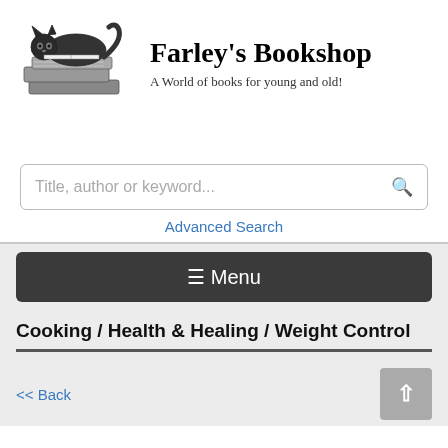[Figure (logo): Vintage illustration of a black cat lying on top of a stack of books, reading]
Farley's Bookshop
A World of books for young and old!
Title, author or keyword...
Advanced Search
☰ Menu
Cooking / Health & Healing / Weight Control
<< Back